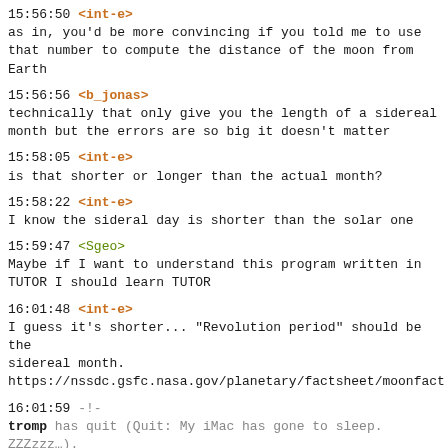15:56:50 <int-e>
as in, you'd be more convincing if you told me to use that number to compute the distance of the moon from Earth
15:56:56 <b_jonas>
technically that only give you the length of a sidereal month but the errors are so big it doesn't matter
15:58:05 <int-e>
is that shorter or longer than the actual month?
15:58:22 <int-e>
I know the sideral day is shorter than the solar one
15:59:47 <Sgeo>
Maybe if I want to understand this program written in TUTOR I should learn TUTOR
16:01:48 <int-e>
I guess it's shorter... "Revolution period" should be the sidereal month.
https://nssdc.gsfc.nasa.gov/planetary/factsheet/moonfact
16:01:59 -!-
tromp has quit (Quit: My iMac has gone to sleep. ZZZzzz…).
16:02:58 <int-e>
> 655.720 / 24
16:03:01 <lambdabot>
 27.32166666666667